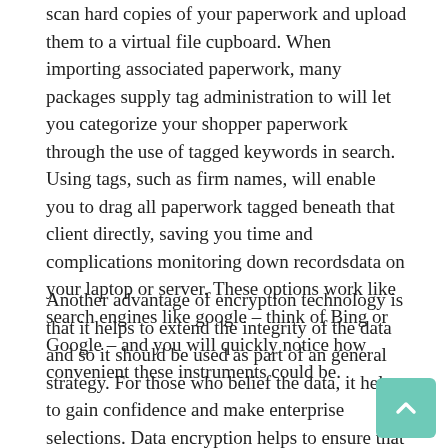scan hard copies of your paperwork and upload them to a virtual file cupboard. When importing associated paperwork, many packages supply tag administration to will let you categorize your shopper paperwork through the use of tagged keywords in search. Using tags, such as firm names, will enable you to drag all paperwork tagged beneath that client directly, saving you time and complications monitoring down recordsdata on your laptop or server. These options work like search engines like google – think of Bing or Google – and you will quickly notice how convenient these instruments could be.
Another advantage of encryption technology is that it helps to extend the integrity of the data and so it should be used as part of an general strategy. For those who belief the data, it helps to gain confidence and make enterprise selections. Data encryption helps to ensure that solely approved parties of the organizations achieve access to the firm's info for analysis.